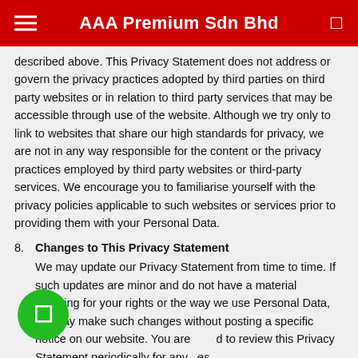AAA Premium Sdn Bhd
described above. This Privacy Statement does not address or govern the privacy practices adopted by third parties on third party websites or in relation to third party services that may be accessible through use of the website. Although we try only to link to websites that share our high standards for privacy, we are not in any way responsible for the content or the privacy practices employed by third party websites or third-party services. We encourage you to familiarise yourself with the privacy policies applicable to such websites or services prior to providing them with your Personal Data.
8. Changes to This Privacy Statement
We may update our Privacy Statement from time to time. If such updates are minor and do not have a material meaning for your rights or the way we use Personal Data, we may make such changes without posting a specific notice on our website. You are advised to review this Privacy Statement periodically for any changes.